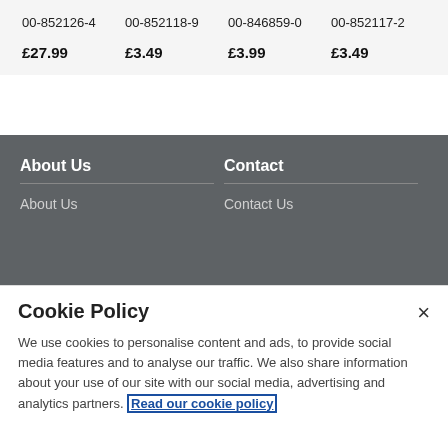| 00-852126-4 | 00-852118-9 | 00-846859-0 | 00-852117-2 |
| £27.99 | £3.49 | £3.99 | £3.49 |
About Us
Contact
About Us
Contact Us
Cookie Policy
We use cookies to personalise content and ads, to provide social media features and to analyse our traffic. We also share information about your use of our site with our social media, advertising and analytics partners. Read our cookie policy